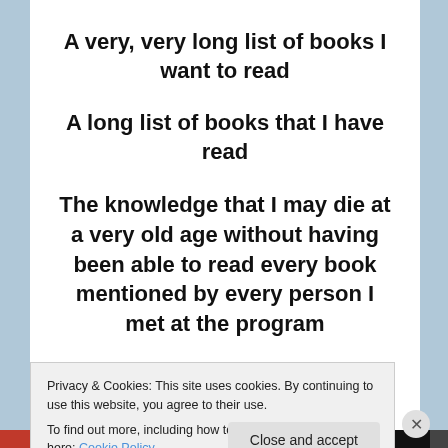A very, very long list of books I want to read
A long list of books that I have read
The knowledge that I may die at a very old age without having been able to read every book mentioned by every person I met at the program
The experience of being a fiction reader for Mason's Road journal
Privacy & Cookies: This site uses cookies. By continuing to use this website, you agree to their use.
To find out more, including how to control cookies, see here: Cookie Policy
Close and accept